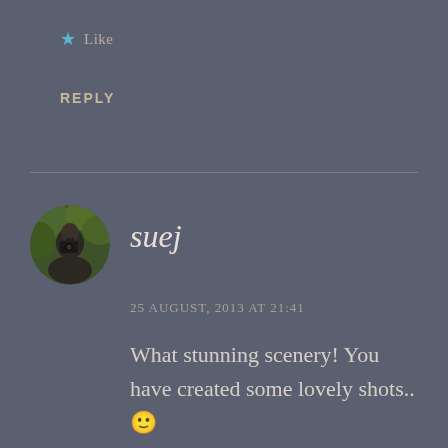★ Like
REPLY
[Figure (photo): Circular avatar photo of a person holding a camera, outdoors with green foliage background]
suej
25 AUGUST, 2013 AT 21:41
What stunning scenery! You have created some lovely shots.. 🙂